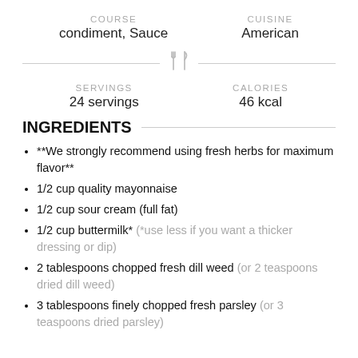COURSE
condiment, Sauce
CUISINE
American
SERVINGS
24 servings
CALORIES
46 kcal
INGREDIENTS
**We strongly recommend using fresh herbs for maximum flavor**
1/2 cup quality mayonnaise
1/2 cup sour cream (full fat)
1/2 cup buttermilk* (*use less if you want a thicker dressing or dip)
2 tablespoons chopped fresh dill weed (or 2 teaspoons dried dill weed)
3 tablespoons finely chopped fresh parsley (or 3 teaspoons dried parsley)